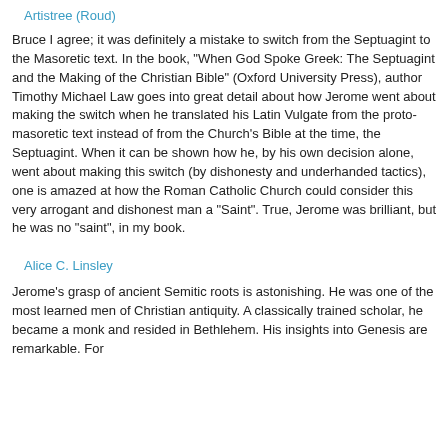Artistree (Roud)
Bruce I agree; it was definitely a mistake to switch from the Septuagint to the Masoretic text. In the book, "When God Spoke Greek: The Septuagint and the Making of the Christian Bible" (Oxford University Press), author Timothy Michael Law goes into great detail about how Jerome went about making the switch when he translated his Latin Vulgate from the proto-masoretic text instead of from the Church's Bible at the time, the Septuagint. When it can be shown how he, by his own decision alone, went about making this switch (by dishonesty and underhanded tactics), one is amazed at how the Roman Catholic Church could consider this very arrogant and dishonest man a "Saint". True, Jerome was brilliant, but he was no "saint", in my book.
Alice C. Linsley
Jerome’s grasp of ancient Semitic roots is astonishing. He was one of the most learned men of Christian antiquity. A classically trained scholar, he became a monk and resided in Bethlehem. His insights into Genesis are remarkable. For